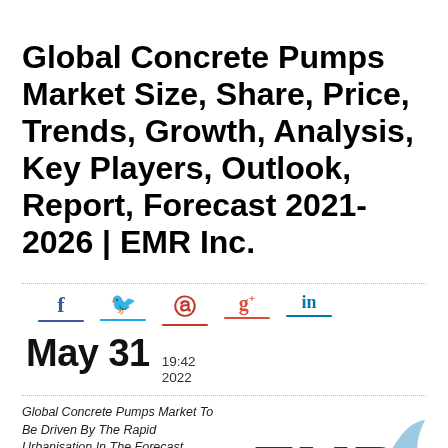Global Concrete Pumps Market Size, Share, Price, Trends, Growth, Analysis, Key Players, Outlook, Report, Forecast 2021-2026 | EMR Inc.
[Figure (infographic): Social media share icons: Facebook (f), Twitter (bird), Pinterest (p), Google+ (g+), LinkedIn (in), each with colored underline bars]
May 31  19:42 2022
Global Concrete Pumps Market To Be Driven By The Rapid Urbanisation In The Forecast Period Of 2021-2026
[Figure (logo): EMR Inc. logo with large dark blue EMR text, light blue arrow graphic, circular icon, and tagline 'Leave it to the Experts!']
The new report by Expert Market